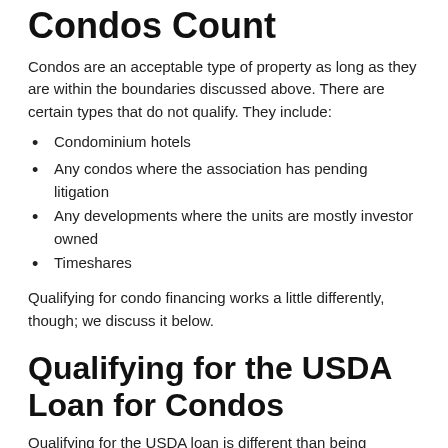Condos Count
Condos are an acceptable type of property as long as they are within the boundaries discussed above. There are certain types that do not qualify. They include:
Condominium hotels
Any condos where the association has pending litigation
Any developments where the units are mostly investor owned
Timeshares
Qualifying for condo financing works a little differently, though; we discuss it below.
Qualifying for the USDA Loan for Condos
Qualifying for the USDA loan is different than being eligible. Once you determine you are eligible for the program, you have to prove you can afford the loan. This works the same way as